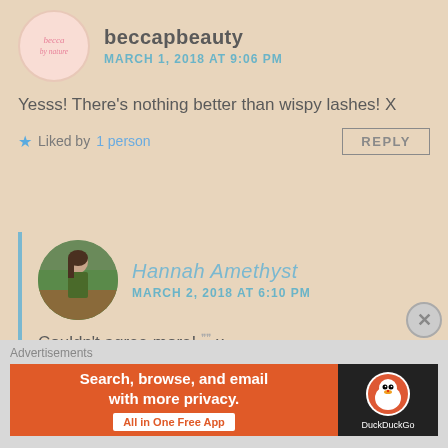[Figure (illustration): Circular avatar logo for beccapbeauty blog with pink handwritten text on light pink background]
beccapbeauty
MARCH 1, 2018 AT 9:06 PM
Yesss! There's nothing better than wispy lashes! X
Liked by 1 person
REPLY
[Figure (photo): Circular avatar photo of Hannah Amethyst, a young woman with brown hair standing outdoors in a park with green trees]
Hannah Amethyst
MARCH 2, 2018 AT 6:10 PM
Couldn't agree more! 💕 x
Like
Advertisements
[Figure (screenshot): DuckDuckGo advertisement banner: orange section saying Search, browse, and email with more privacy. All in One Free App, black section with DuckDuckGo logo]